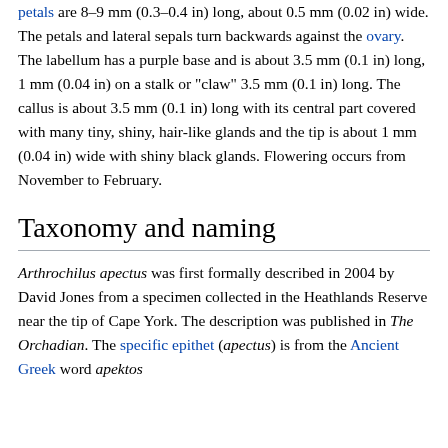petals are 8–9 mm (0.3–0.4 in) long, about 0.5 mm (0.02 in) wide. The petals and lateral sepals turn backwards against the ovary. The labellum has a purple base and is about 3.5 mm (0.1 in) long, 1 mm (0.04 in) on a stalk or "claw" 3.5 mm (0.1 in) long. The callus is about 3.5 mm (0.1 in) long with its central part covered with many tiny, shiny, hair-like glands and the tip is about 1 mm (0.04 in) wide with shiny black glands. Flowering occurs from November to February.
Taxonomy and naming
Arthrochilus apectus was first formally described in 2004 by David Jones from a specimen collected in the Heathlands Reserve near the tip of Cape York. The description was published in The Orchadian. The specific epithet (apectus) is from the Ancient Greek word apektos meaning "uncombed" or "disheveled".